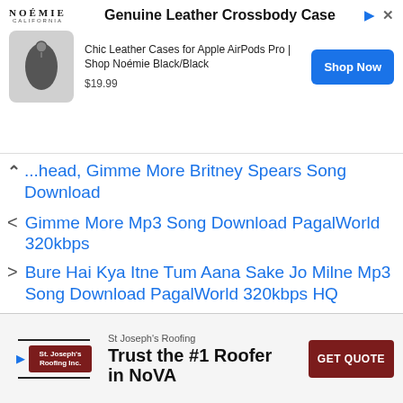[Figure (screenshot): Top advertisement banner for Noémie Genuine Leather Crossbody Case showing AirPods Pro case product with price $19.99 and Shop Now button]
...ahead, Gimme More Britney Spears Song Download
< Gimme More Mp3 Song Download PagalWorld 320kbps
> Bure Hai Kya Itne Tum Aana Sake Jo Milne Mp3 Song Download PagalWorld 320kbps HQ
[Figure (screenshot): Bottom advertisement for St Joseph's Roofing - Trust the #1 Roofer in NoVA with GET QUOTE button]